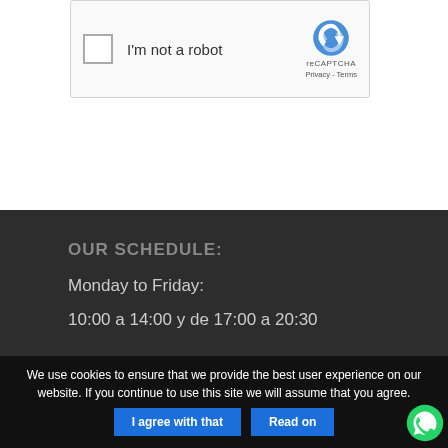[Figure (screenshot): reCAPTCHA widget with checkbox labeled 'I'm not a robot', reCAPTCHA logo, Privacy and Terms links]
Post Comment
OUR SCHEDULE:
Monday to Friday:
10:00 a 14:00 y de 17:00 a 20:30
We use cookies to ensure that we provide the best user experience on our website. If you continue to use this site we will assume that you agree.
I agree with that
Read on